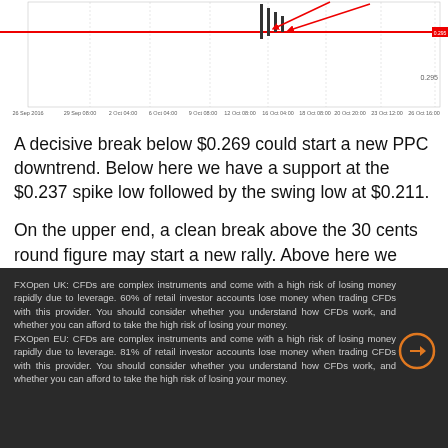[Figure (continuous-plot): Financial price chart showing PPC/USD candlestick or line chart with red horizontal line and red diagonal arrows pointing to a price area, date axis from 26 Sep 2016 to 26 Oct, price labels 0.269 and 0.295 on right axis]
A decisive break below $0.269 could start a new PPC downtrend. Below here we have a support at the $0.237 spike low followed by the swing low at $0.211.
On the upper end, a clean break above the 30 cents round figure may start a new rally. Above here we have weak resistance at  the $0.312 swing high followed by a stronger level consisting of several spike highs near 35 cents per
FXOpen UK: CFDs are complex instruments and come with a high risk of losing money rapidly due to leverage. 60% of retail investor accounts lose money when trading CFDs with this provider. You should consider whether you understand how CFDs work, and whether you can afford to take the high risk of losing your money. FXOpen EU: CFDs are complex instruments and come with a high risk of losing money rapidly due to leverage. 81% of retail investor accounts lose money when trading CFDs with this provider. You should consider whether you understand how CFDs work, and whether you can afford to take the high risk of losing your money.